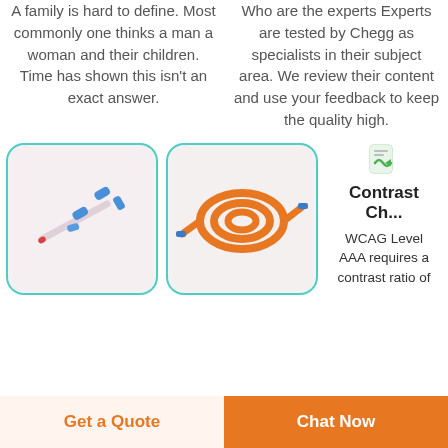A family is hard to define. Most commonly one thinks a man a woman and their children. Time has shown this isn't an exact answer.
Who are the experts Experts are tested by Chegg as specialists in their subject area. We review their content and use your feedback to keep the quality high.
[Figure (photo): Medical IV catheter tube with blue caps on white/pink background]
[Figure (photo): Orange fiber optic cables coiled on white background]
Contrast Ch... WCAG Level AAA requires a contrast ratio of
Get a Quote
Chat Now